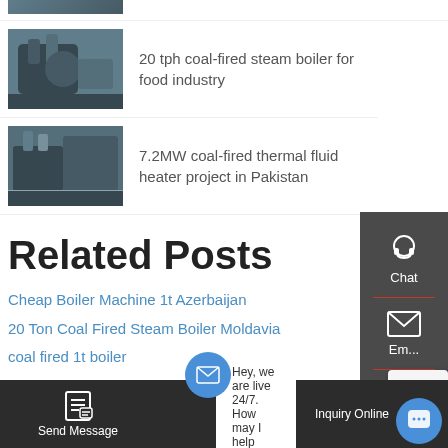20 tph coal-fired steam boiler for food industry
7.2MW coal-fired thermal fluid heater project in Pakistan
Related Posts
Cheap Boiler Machine 1t Azerbaijan
20 Ton Coal Fired Steam Boiler Moldavia
coal fired 1t boiler
coal fuel power plant cfb boiler
coal biomass wood fired steam boilers
Coal Importance In 7 Mw Hot Water Boiler
coal fired steam boiler for sale
Coal Fired 6 Ton Boiler
Hey, we are live 24/7. How may I help you?
Send Message | Inquiry Online